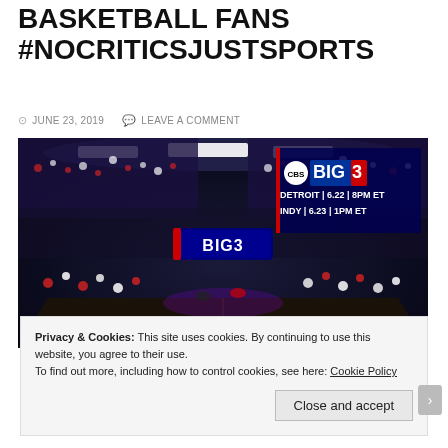BASKETBALL FANS #NOCRITICSJUSTSPORTS
JUNE 23, 2019   LEAVE A COMMENT
[Figure (photo): Indoor basketball arena filled with spectators, BIG3 league game, with CBS BIG3 overlay logo and schedule: DETROIT 6.22 8PM ET, INDY 6.23 1PM ET]
Privacy & Cookies: This site uses cookies. By continuing to use this website, you agree to their use.
To find out more, including how to control cookies, see here: Cookie Policy
Close and accept